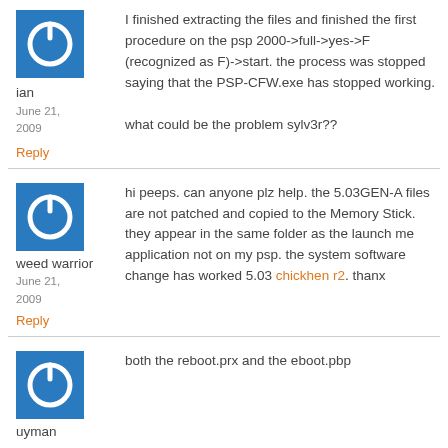[Figure (other): Blue square avatar icon with white power button symbol]
ian
June 21, 2009
Reply
I finished extracting the files and finished the first procedure on the psp 2000->full->yes->F (recognized as F)->start. the process was stopped saying that the PSP-CFW.exe has stopped working.

what could be the problem sylv3r??
[Figure (other): Blue square avatar icon with white power button symbol]
weed warrior
June 21, 2009
Reply
hi peeps. can anyone plz help. the 5.03GEN-A files are not patched and copied to the Memory Stick. they appear in the same folder as the launch me application not on my psp. the system software change has worked 5.03 chickhen r2. thanx
[Figure (other): Blue square avatar icon with white power button symbol (partially visible)]
uyman
both the reboot.prx and the eboot.pbp